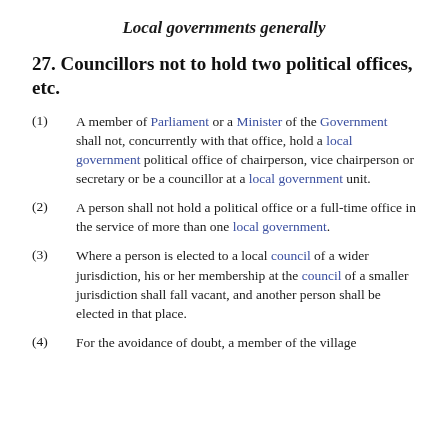Local governments generally
27. Councillors not to hold two political offices, etc.
(1) A member of Parliament or a Minister of the Government shall not, concurrently with that office, hold a local government political office of chairperson, vice chairperson or secretary or be a councillor at a local government unit.
(2) A person shall not hold a political office or a full-time office in the service of more than one local government.
(3) Where a person is elected to a local council of a wider jurisdiction, his or her membership at the council of a smaller jurisdiction shall fall vacant, and another person shall be elected in that place.
(4) For the avoidance of doubt, a member of the village ...